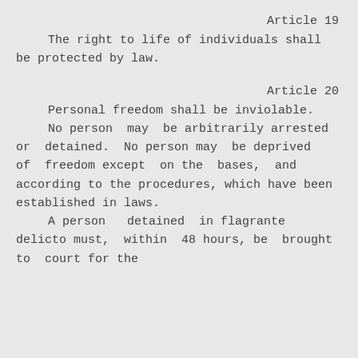Article 19
The right to life of individuals shall be protected by law.
Article 20
Personal freedom shall be inviolable.

No person may be arbitrarily arrested or detained. No person may be deprived of freedom except on the bases, and according to the procedures, which have been established in laws.

A person detained in flagrante delicto must, within 48 hours, be brought to court for the